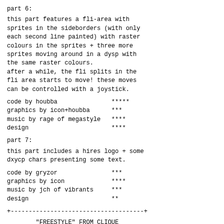part 6:
this part features a fli-area with sprites in the sideborders (with only each second line painted) with raster colours in the sprites + three more sprites moving around in a dysp with the same raster colours.
after a while, the fli splits in the fli area starts to move! these moves can be controlled with a joystick.
code by houbba          *****
graphics by icon+houbba  ***
music by rage of megastyle  ****
design                   ****
part 7:
this part includes a hires logo + some dxycp chars presenting some text.
code by gryzor           ***
graphics by icon         ****
music by jch of vibrants  ***
design                   **
+-------------------------------------+
"FREESTYLE" FROM CLIQUE
        "FREESTYLE" FROM CLIQUE
         ------------------------
loader:
code by walking stress+master   ***
graphics by mad+prince+remix  **
music by babyface            ***
design                       ***